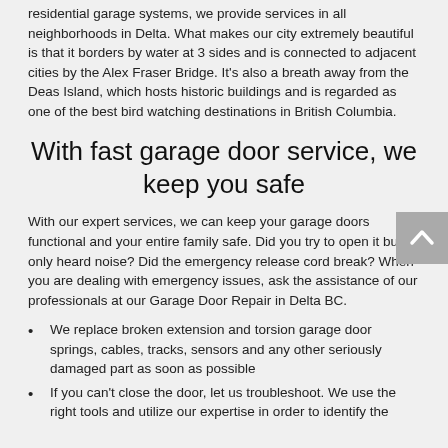residential garage systems, we provide services in all neighborhoods in Delta. What makes our city extremely beautiful is that it borders by water at 3 sides and is connected to adjacent cities by the Alex Fraser Bridge. It's also a breath away from the Deas Island, which hosts historic buildings and is regarded as one of the best bird watching destinations in British Columbia.
With fast garage door service, we keep you safe
With our expert services, we can keep your garage doors functional and your entire family safe. Did you try to open it but only heard noise? Did the emergency release cord break? When you are dealing with emergency issues, ask the assistance of our professionals at our Garage Door Repair in Delta BC.
We replace broken extension and torsion garage door springs, cables, tracks, sensors and any other seriously damaged part as soon as possible
If you can't close the door, let us troubleshoot. We use the right tools and utilize our expertise in order to identify the